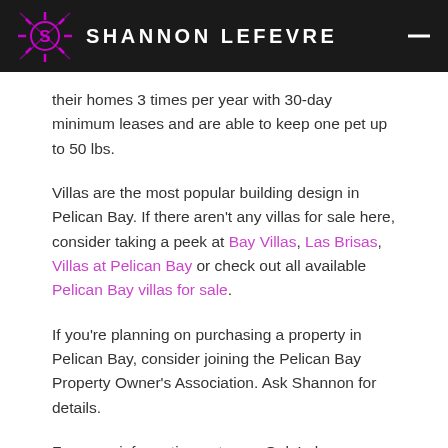SHANNON LEFEVRE
their homes 3 times per year with 30-day minimum leases and are able to keep one pet up to 50 lbs.
Villas are the most popular building design in Pelican Bay. If there aren't any villas for sale here, consider taking a peek at Bay Villas, Las Brisas, Villas at Pelican Bay or check out all available Pelican Bay villas for sale.
If you're planning on purchasing a property in Pelican Bay, consider joining the Pelican Bay Property Owner's Association. Ask Shannon for details.
For more information or to see Oak Lake Sanctuary at Pelican Bay, contact Shannon today.